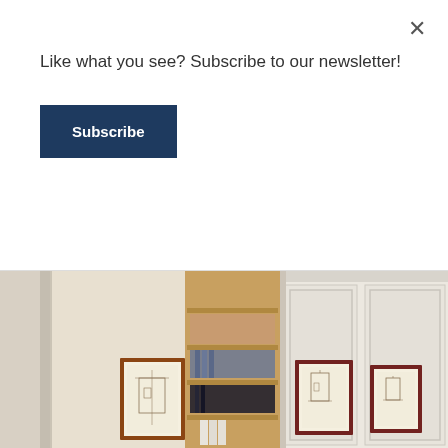Like what you see? Subscribe to our newsletter!
Subscribe
×
[Figure (photo): Interior room photo showing white paneled walls with framed architectural prints, and an open hidden bookcase/cabinet door revealing wooden shelves with books and folders inside.]